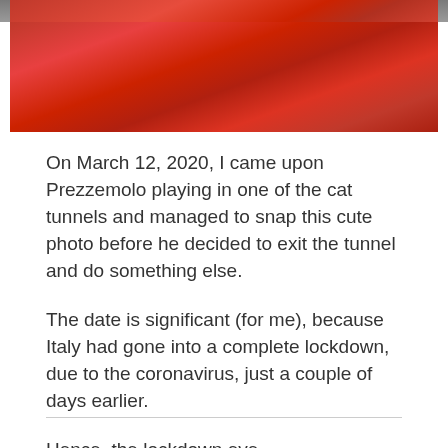[Figure (photo): Partial photo of a red fabric cat tunnel, showing red crinkled fabric with a gray top bar visible at top]
On March 12, 2020, I came upon Prezzemolo playing in one of the cat tunnels and managed to snap this cute photo before he decided to exit the tunnel and do something else.
The date is significant (for me), because Italy had gone into a complete lockdown, due to the coronavirus, just a couple of days earlier.
Hence, the lockdown eye…